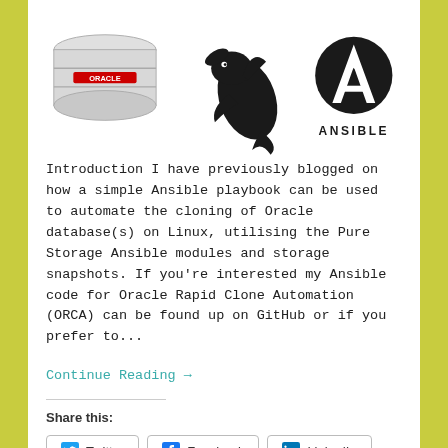[Figure (illustration): Three logos/icons: Oracle database cylinder icon on the left, MySQL dolphin logo in the center, and Ansible logo (A symbol with ANSIBLE text) on the right]
Introduction I have previously blogged on how a simple Ansible playbook can be used to automate the cloning of Oracle database(s) on Linux, utilising the Pure Storage Ansible modules and storage snapshots. If you're interested my Ansible code for Oracle Rapid Clone Automation (ORCA) can be found up on GitHub or if you prefer to...
Continue Reading →
Share this:
Twitter  Facebook  LinkedIn